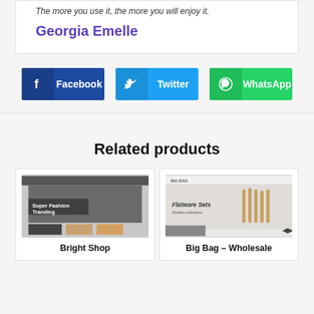The more you use it, the more you will enjoy it.
Georgia Emelle
[Figure (screenshot): Three social share buttons: Facebook (dark blue), Twitter (light blue), WhatsApp (green)]
Related products
[Figure (screenshot): Bright Shop product thumbnail - fashion website screenshot showing 'Super Fashion Tranding' text with a woman in hat]
Bright Shop
[Figure (screenshot): Big Bag - Wholesale product thumbnail - website screenshot showing 'Flatware Sets' with wooden cutlery]
Big Bag – Wholesale